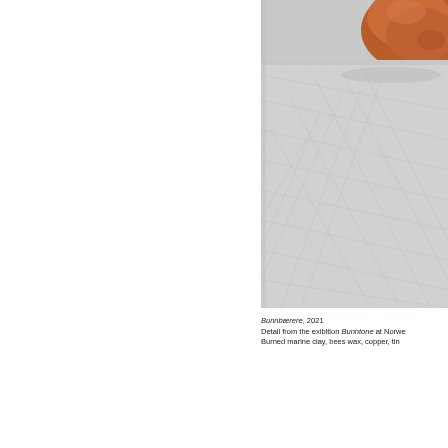[Figure (photo): Photograph showing a close-up detail of a herringbone-patterned light grey wooden floor with a terracotta/orange ceramic sculptural object partially visible in the upper right corner.]
Bunnbærere, 2021
Detail from the exibition Bunntone at Norwe
Burned marine clay, bees wax, copper, tin